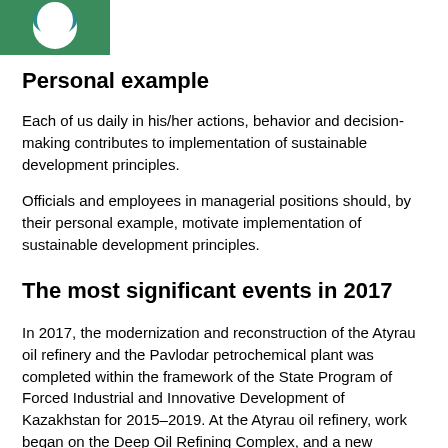[Figure (logo): Green and teal circular logo in top left corner on a green square background]
Personal example
Each of us daily in his/her actions, behavior and decision-making contributes to implementation of sustainable development principles.
Officials and employees in managerial positions should, by their personal example, motivate implementation of sustainable development principles.
The most significant events in 2017
In 2017, the modernization and reconstruction of the Atyrau oil refinery and the Pavlodar petrochemical plant was completed within the framework of the State Program of Forced Industrial and Innovative Development of Kazakhstan for 2015–2019. At the Atyrau oil refinery, work began on the Deep Oil Refining Complex, and a new complex for the production of light petroleum products was put into operation at the Pavlodar Refinery.
At the 7...